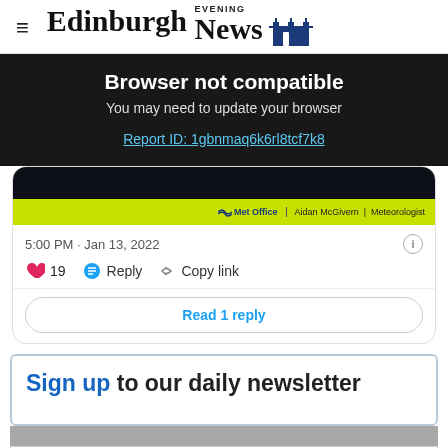Edinburgh Evening News
Browser not compatible
You may need to update your browser
Report ID: 1gbnmaq6k6rl8tcf7k8
[Figure (screenshot): Met Office video thumbnail showing Aidan McGivern Meteorologist with yellow/green branding bar]
5:00 PM · Jan 13, 2022
19  Reply  Copy link
Read 1 reply
Sign up to our daily newsletter